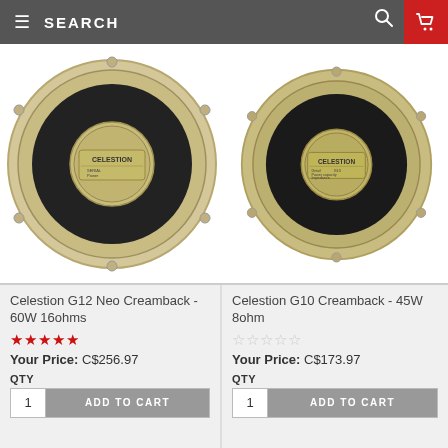SEARCH
[Figure (photo): Back view of Celestion G12 Neo Creamback speaker, gold-colored chassis with black cone cutouts and Celestion label in center]
[Figure (photo): Back view of Celestion G10 Creamback speaker, gold-colored chassis with black cone cutouts and Celestion label in center]
Celestion G12 Neo Creamback - 60W 16ohms
★★★★★
Your Price: C$256.97
QTY
ADD TO CART
Celestion G10 Creamback - 45W 8ohm
☆☆☆☆☆
Your Price: C$173.97
QTY
ADD TO CART